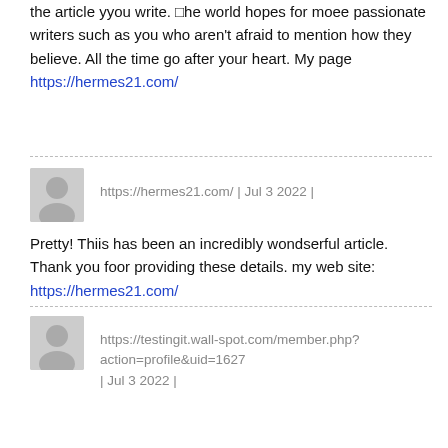the article yyou write. □he world hopes for moee passionate writers such as you who aren't afraid to mention how they believe. All the time go after your heart. My page https://hermes21.com/
https://hermes21.com/ | Jul 3 2022 |
Pretty! Thiis has been an incredibly wondserful article. Thank you foor providing these details. my web site: https://hermes21.com/
https://testingit.wall-spot.com/member.php?action=profile&uid=1627 | Jul 3 2022 |